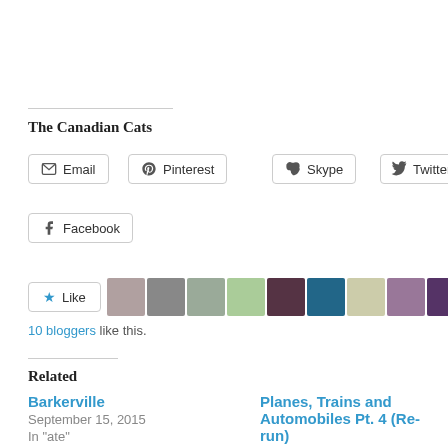The Canadian Cats
Email
Pinterest
Skype
Twitter
Facebook
10 bloggers like this.
Related
Barkerville
September 15, 2015
In "ate"
Planes, Trains and Automobiles Pt. 4 (Re-run)
April 7, 2019